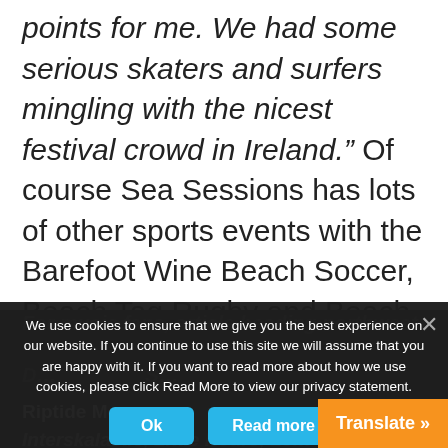points for me. We had some serious skaters and surfers mingling with the nicest festival crowd in Ireland.” Of course Sea Sessions has lots of other sports events with the Barefoot Wine Beach Soccer, Beach Tag Rugby and Beach Volleyball offering the average festival goer lots of craic on the beach.
For music fans, article heading northwest...
Riptide Move... some name
Interskalactic, Little Hours, Le...
We use cookies to ensure that we give you the best experience on our website. If you continue to use this site we will assume that you are happy with it. If you want to read more about how we use cookies, please click Read More to view our privacy statement.